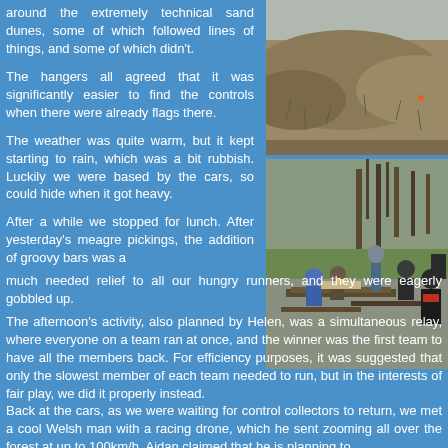around the extremely technical sand dunes, some of which followed lines of things, and some of which didn't.
[Figure (photo): Sand dunes with sparse grass and vegetation, grey sky]
The hangers all agreed that it was significantly easier to find the controls when there were already flags there.
[Figure (photo): Group of people sitting around a picnic table outdoors, eating lunch, with trees in the background]
The weather was quite warm, but it kept starting to rain, which was a bit rubbish. Luckily we were based by the cars, so could hide when it got heavy.
After a while we stopped for lunch. After yesterday's meagre pickings, the addition of groovy bars was a much needed relief to all our hungry runners, and they were eagerly gobbled up.
The afternoon's activity, also planned by Helen, was a simultaneous relay, where everyone on a team ran at once, and the winner was the first team to have all the members back. For efficiency purposes, it was suggested that only the slowest member of each team needed to run, but in the interests of fair play, we did it properly instead.
Back at the cars, as we were waiting for control collectors to return, we met a cool Welsh man with a racing drone, which he sent zooming all over the forest at up to 100km/h. Aidan claimed that he is planning to